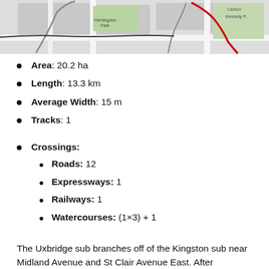[Figure (map): Partial map showing a route (highlighted in red) through an urban area, with labels for Flemingdon Park, Carlton, and Kennedy Park visible.]
Area: 20.2 ha
Length: 13.3 km
Average Width: 15 m
Tracks: 1
Crossings:
Roads: 12
Expressways: 1
Railways: 1
Watercourses: (1×3) + 1
The Uxbridge sub branches off of the Kingston sub near Midland Avenue and St Clair Avenue East. After